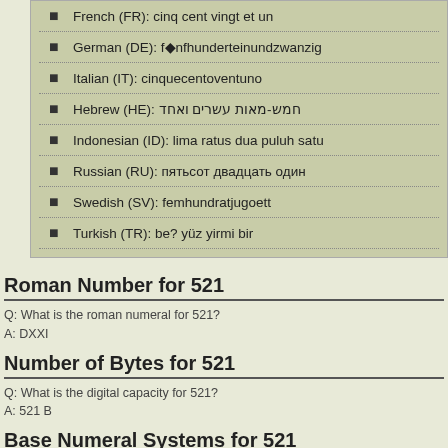French (FR): cinq cent vingt et un
German (DE): fünfhunderteinundzwanzig
Italian (IT): cinquecentoventuno
Hebrew (HE): חמש-מאות עשרים ואחד
Indonesian (ID): lima ratus dua puluh satu
Russian (RU): пятьсот двадцать один
Swedish (SV): femhundratjugoett
Turkish (TR): beş yüz yirmi bir
Roman Number for 521
Q: What is the roman numeral for 521?
A: DXXI
Number of Bytes for 521
Q: What is the digital capacity for 521?
A: 521 B
Base Numeral Systems for 521